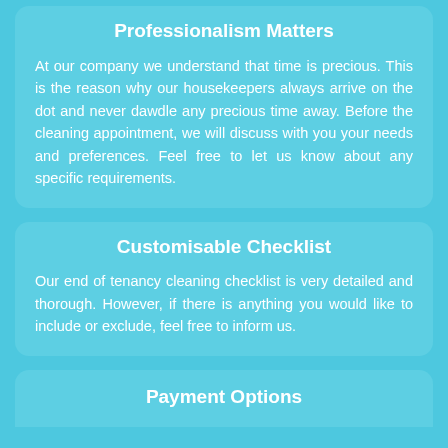Professionalism Matters
At our company we understand that time is precious. This is the reason why our housekeepers always arrive on the dot and never dawdle any precious time away. Before the cleaning appointment, we will discuss with you your needs and preferences. Feel free to let us know about any specific requirements.
Customisable Checklist
Our end of tenancy cleaning checklist is very detailed and thorough. However, if there is anything you would like to include or exclude, feel free to inform us.
Payment Options